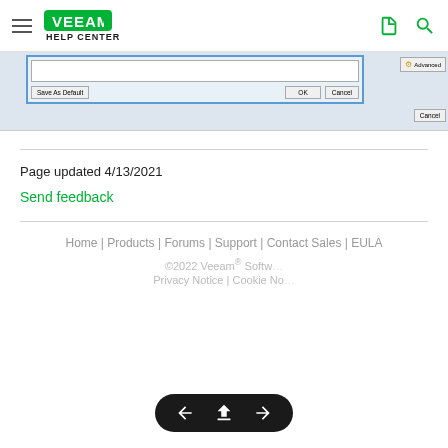Veeam Help Center
[Figure (screenshot): Screenshot of a dialog box with a text input field, Save As Default, OK, Cancel buttons, and an Advanced button on the right side.]
Page updated 4/13/2021
Send feedback
Home | Products | Forums | Support | Contact Sales | EULA
©2022 Veeam® Software
Privacy Notice | Cookie Notice